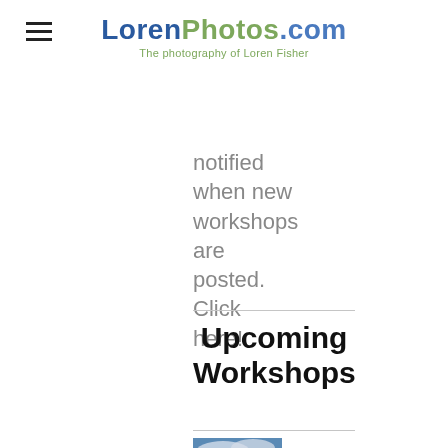LorenPhotos.com — The photography of Loren Fisher
notified when new workshops are posted. Click here!
Upcoming Workshops
[Figure (photo): Thumbnail photo showing a silhouette against a dramatic cloudy sky]